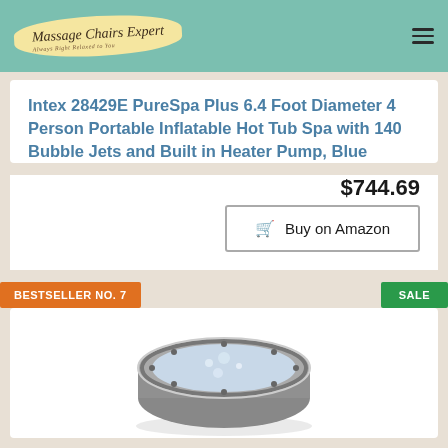Massage Chairs Expert
Intex 28429E PureSpa Plus 6.4 Foot Diameter 4 Person Portable Inflatable Hot Tub Spa with 140 Bubble Jets and Built in Heater Pump, Blue
$744.69
Buy on Amazon
BESTSELLER NO. 7
SALE
[Figure (photo): Photo of an inflatable hot tub spa, circular shape, gray/silver color with bubble jets visible]